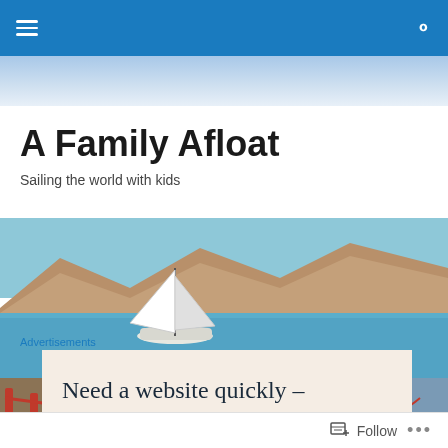A Family Afloat — navigation bar with hamburger menu and search icon
A Family Afloat
Sailing the world with kids
[Figure (photo): Sailboat on calm blue water with mountains in the background]
[Figure (photo): Mosaic collage of Golden Gate Bridge and coastal scenery]
Advertisements
Need a website quickly – and on a budget?
Follow ...